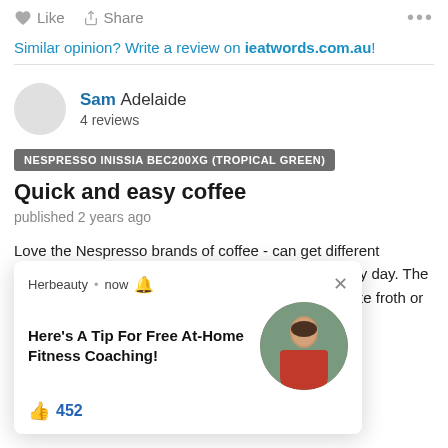Like  Share  ...
Similar opinion? Write a review on ieatwords.com.au!
Sam  Adelaide
4 reviews
NESPRESSO INISSIA BEC200XG (TROPICAL GREEN)
Quick and easy coffee
published 2 years ago
Love the Nespresso brands of coffee - can get different flavours which change the type of coffee I have every day. The milk frothier is excellent and easy to use - fun to make froth... or for hot c... super easy... training...
Date
Dec 2...
[Figure (screenshot): Herbeauty popup notification: 'Here's A Tip For Free At-Home Fitness Coaching!' with a circular photo of a woman in a red sports bra, a thumbs up icon, and 452 likes.]